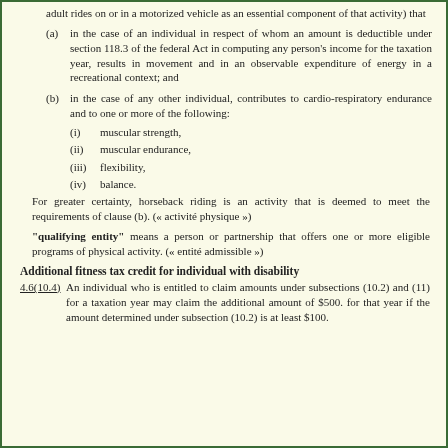adult rides on or in a motorized vehicle as an essential component of that activity) that
(a) in the case of an individual in respect of whom an amount is deductible under section 118.3 of the federal Act in computing any person’s income for the taxation year, results in movement and in an observable expenditure of energy in a recreational context; and
(b) in the case of any other individual, contributes to cardio-respiratory endurance and to one or more of the following:
(i) muscular strength,
(ii) muscular endurance,
(iii) flexibility,
(iv) balance.
For greater certainty, horseback riding is an activity that is deemed to meet the requirements of clause (b). (« activité physique »)
"qualifying entity" means a person or partnership that offers one or more eligible programs of physical activity. (« entité admissible »)
Additional fitness tax credit for individual with disability
4.6(10.4)  An individual who is entitled to claim amounts under subsections (10.2) and (11) for a taxation year may claim the additional amount of $500. for that year if the amount determined under subsection (10.2) is at least $100.